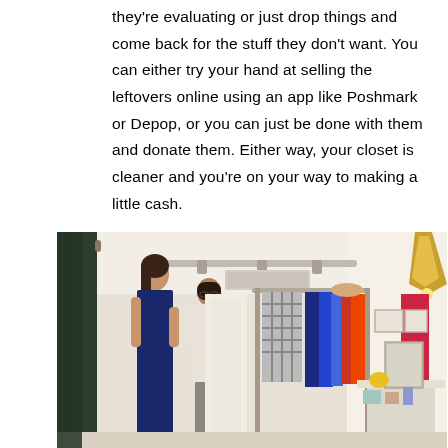they're evaluating or just drop things and come back for the stuff they don't want. You can either try your hand at selling the leftovers online using an app like Poshmark or Depop, or you can just be done with them and donate them. Either way, your closet is cleaner and you're on your way to making a little cash.
[Figure (photo): Interior of a clothing boutique with a woman in a navy blue dress being assisted by another person, clothing racks with colorful garments, a chandelier, and display tables with merchandise.]